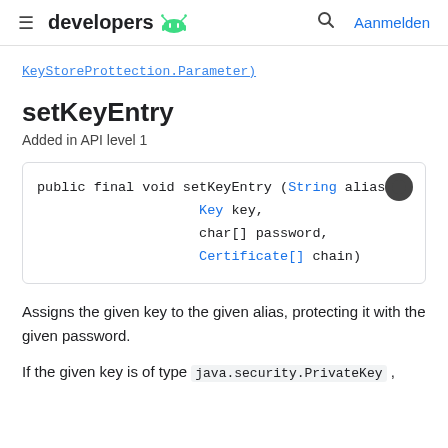developers [android logo] | search | Aanmelden
KeyStoreProttection.Parameter)
setKeyEntry
Added in API level 1
Assigns the given key to the given alias, protecting it with the given password.
If the given key is of type java.security.PrivateKey ,